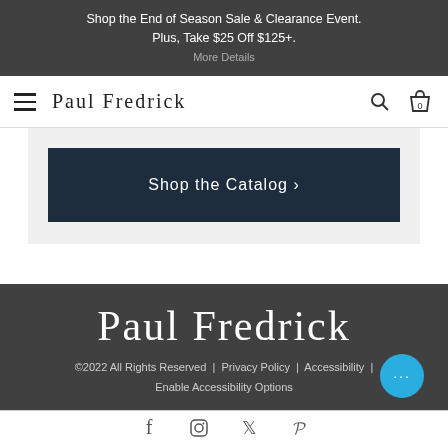Shop the End of Season Sale & Clearance Event. Plus, Take $25 Off $125+.
[Figure (screenshot): Paul Fredrick navigation bar with hamburger menu, brand name, search icon, and shopping bag icon showing 0 items]
[Figure (screenshot): Shop the Catalog button with dark navy background and white text]
[Figure (screenshot): Paul Fredrick footer with brand name, copyright notice, policy links, chat bubble, and social media icons]
©2022 All Rights Reserved  |  Privacy Policy  |  Accessibility  |  Enable Accessibility Options